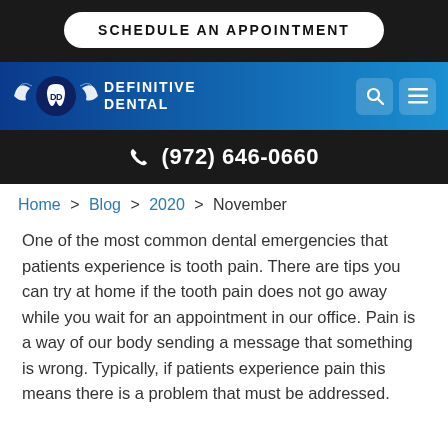[Figure (screenshot): Schedule an appointment button on dark background, Definitive Dental logo and navigation bar with gradient blue background, phone number bar]
SCHEDULE AN APPOINTMENT
[Figure (logo): Definitive Dental logo with wings and tooth, white text on blue gradient background, with search and menu icons]
(972) 646-0660
Home > Blog > 2020 > November
One of the most common dental emergencies that patients experience is tooth pain. There are tips you can try at home if the tooth pain does not go away while you wait for an appointment in our office. Pain is a way of our body sending a message that something is wrong. Typically, if patients experience pain this means there is a problem that must be addressed.